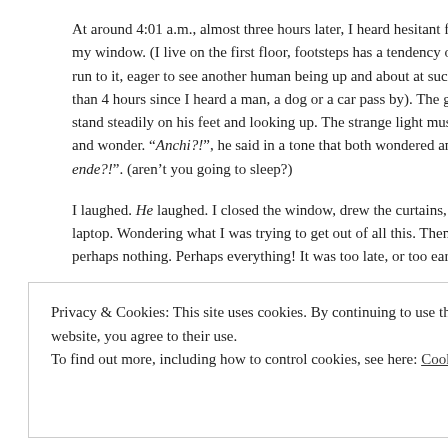At around 4:01 a.m., almost three hours later, I heard hesitant footsteps underneath my window. (I live on the first floor, footsteps has a tendency of echoing in the corridor). I run to it, eager to see another human being up and about at such an hour (been more than 4 hours since I heard a man, a dog or a car pass by). The guy was trying to stand steadily on his feet and looking up. The strange light must have made him stop and wonder. “Anchi?!”, he said in a tone that both wondered and accused, “Ate hindi ka pa ende?!". (aren’t you going to sleep?)
I laughed. He laughed. I closed the window, drew the curtains, and went back to my laptop. Wondering what I was trying to get out of all this. Then I remembered, perhaps nothing. Perhaps everything! It was too late, or too early, to remember.
Now, seated infront of my PC, waiting for the page to publish, I know.
“Sister Act II” was a lowly imitation of “Sister Act I”, as is the reality with all sequels (except “The Dark Knight”, which defied all expectations, I’d like to think). But it...
Privacy & Cookies: This site uses cookies. By continuing to use this website, you agree to their use.
To find out more, including how to control cookies, see here: Cookie Policy